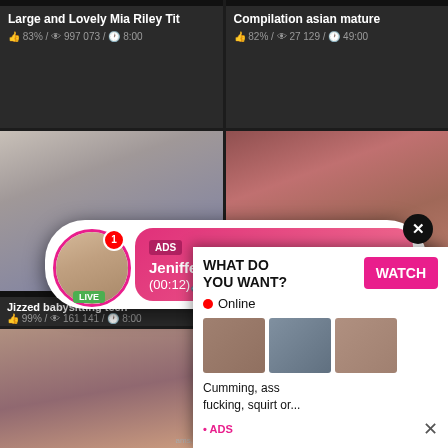Large and Lovely Mia Riley Tit
83% / 997 073 / 8:00
Compilation asian mature
82% / 27 129 / 49:00
[Figure (photo): Video thumbnail - mirror selfie]
[Figure (photo): Video thumbnail - adult content]
Jizzed babysitting teen
99% / 161 141 / 8:00
BANGBROS - Colombian MILF
101% / 439 499 / 13:00
[Figure (infographic): Overlay ad popup: ADS badge, Jeniffer 2000 (00:12) with LIVE avatar and close button]
[Figure (infographic): Bottom right ad: WHAT DO YOU WANT? WATCH button, Online indicator, thumbnail images, text: Cumming, ass fucking, squirt or... • ADS]